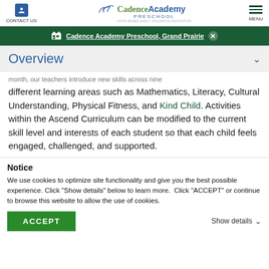CONTACT US | Cadence Academy PRESCHOOL | MENU
Cadence Academy Preschool, Grand Prairie
Overview
month, our teachers introduce new skills across nine different learning areas such as Mathematics, Literacy, Cultural Understanding, Physical Fitness, and Kind Child. Activities within the Ascend Curriculum can be modified to the current skill level and interests of each student so that each child feels engaged, challenged, and supported.
Notice
We use cookies to optimize site functionality and give you the best possible experience. Click "Show details" below to learn more.  Click "ACCEPT" or continue to browse this website to allow the use of cookies.